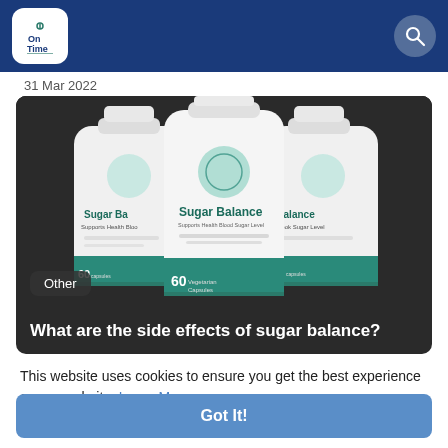On Time
31 Mar 2022
[Figure (photo): Three white supplement bottles labeled 'Sugar Balance' with teal branding, showing '60 capsules'. A dark badge reading 'Other' appears at the bottom left of the image.]
What are the side effects of sugar balance?
This website uses cookies to ensure you get the best experience on our website. Learn More
Got It!